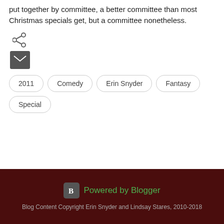put together by committee, a better committee than most Christmas specials get, but a committee nonetheless.
[Figure (other): Share icon (social sharing)]
[Figure (other): Email icon (dark square with envelope)]
2011
Comedy
Erin Snyder
Fantasy
Special
Powered by Blogger
Blog Content Copyright Erin Snyder and Lindsay Stares, 2010-2018